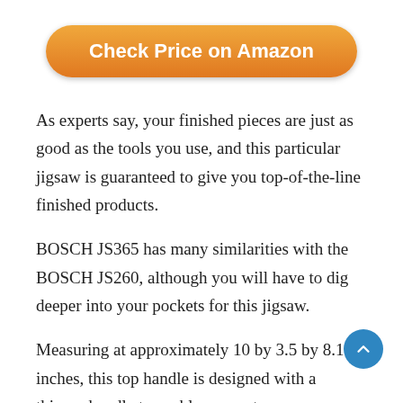[Figure (other): Orange rounded button labeled 'Check Price on Amazon']
As experts say, your finished pieces are just as good as the tools you use, and this particular jigsaw is guaranteed to give you top-of-the-line finished products.
BOSCH JS365 has many similarities with the BOSCH JS260, although you will have to dig deeper into your pockets for this jigsaw.
Measuring at approximately 10 by 3.5 by 8.1 inches, this top handle is designed with a thinner handle to enable y to wrap your entire hand around it for enhanced comfort and